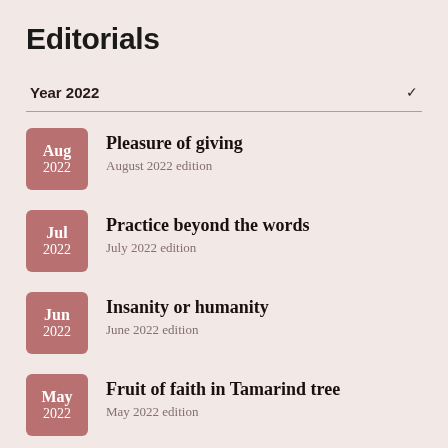Editorials
Year 2022
Pleasure of giving
August 2022 edition
Practice beyond the words
July 2022 edition
Insanity or humanity
June 2022 edition
Fruit of faith in Tamarind tree
May 2022 edition
Four more months...!